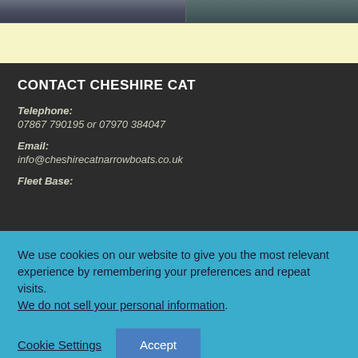[Figure (photo): Top portion of a narrowboat or canal boat image, partially visible at the top of the page, split into two sections.]
CONTACT CHESHIRE CAT
Telephone:
07867 790195 or 07970 384047
Email:
info@cheshirecatnarrowboats.co.uk
Fleet Base:
We use cookies on our website to give you the most relevant experience by remembering your preferences and repeat visits.
We do not not sell your personal information.
Cookie Settings
Accept